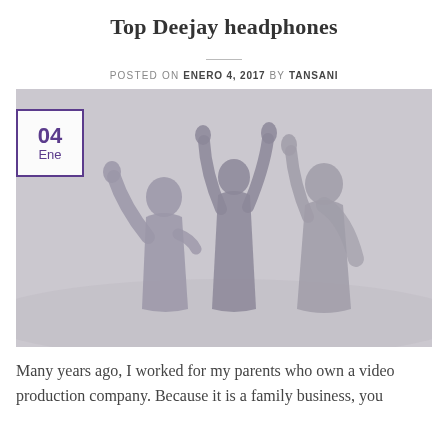Top Deejay headphones
POSTED ON ENERO 4, 2017 BY TANSANI
[Figure (photo): Silhouette of three people with raised hands against a light grey/lavender background. A date badge with '04 Ene' in purple is overlaid in the top-left corner.]
Many years ago, I worked for my parents who own a video production company. Because it is a family business, you